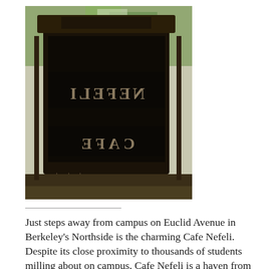[Figure (photo): A dark wooden sign for Cafe Nefeli, with text appearing mirrored/reflected. The sign is photographed from outside, with green trees visible in the background. The sign reads 'CAFE' and 'NEFELI' in a decorative style, with the reflection showing reversed lettering.]
Just steps away from campus on Euclid Avenue in Berkeley's Northside is the charming Cafe Nefeli. Despite its close proximity to thousands of students milling about on campus, Cafe Nefeli is a haven from the exciting, vibrant, yet sometimes stressful aura that Cal radiates beyond its borders. To be sure, the small cafe often becomes crowded during lunch-time and can be loud with conversation and a great mix of music (that admittedly can become a distraction at those points when you feel so inclined to set down your book on Byzantine art history and sing aloud to the Rolling Stones). But unlike many other popular cafes, especially those on Southside, this cafe definitely has its quiet, peaceful moments, particularly